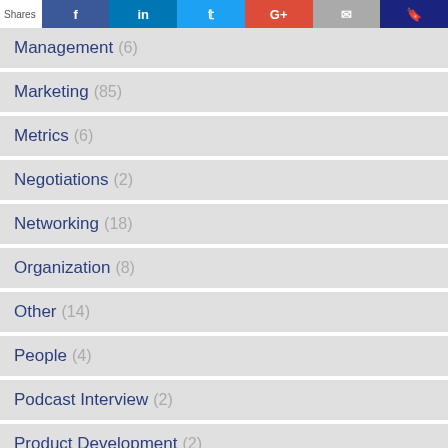Shares | Facebook | LinkedIn | Twitter | Google+ | Email | Bookmark
Management (6)
Marketing (85)
Metrics (6)
Negotiations (2)
Networking (18)
Organization (8)
Other (14)
People (4)
Podcast Interview (2)
Product Development (2)
productivity (4)
Productivity (57)
Resource (5)
Sales (36)